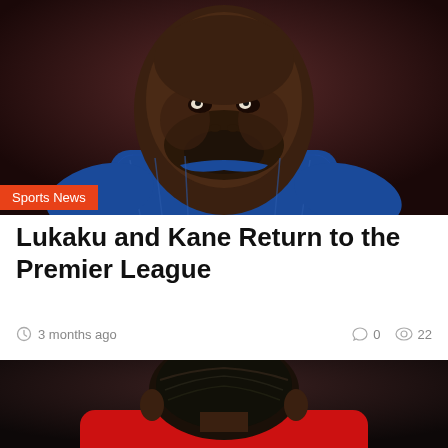[Figure (photo): Close-up of a football player in a blue jersey looking upward, dark-skinned with a beard]
Sports News
Lukaku and Kane Return to the Premier League
3 months ago   0   22
[Figure (photo): Back of a footballer's head with dark hair, wearing a red Manchester United jersey with the club badge visible on the collar]